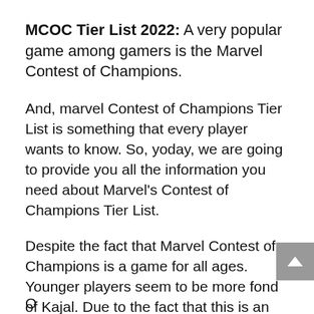MCOC Tier List 2022: A very popular game among gamers is the Marvel Contest of Champions.
And, marvel Contest of Champions Tier List is something that every player wants to know. So, yoday, we are going to provide you all the information you need about Marvel's Contest of Champions Tier List.
Despite the fact that Marvel Contest of Champions is a game for all ages. Younger players seem to be more fond of Kajal. Due to the fact that this is an action game, players are more excited to play it.
O... (cut off)